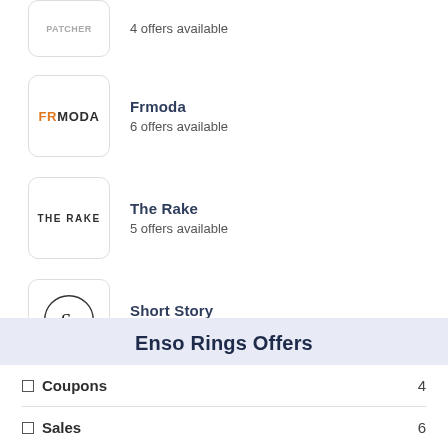4 offers available
Frmoda
6 offers available
The Rake
5 offers available
Short Story
15 offers available
Enso Rings Offers
Coupons 4
Sales 6